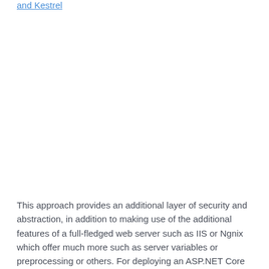and Kestrel
This approach provides an additional layer of security and abstraction, in addition to making use of the additional features of a full-fledged web server such as IIS or Ngnix which offer much more such as server variables or preprocessing or others. For deploying an ASP.NET Core application to a web server...